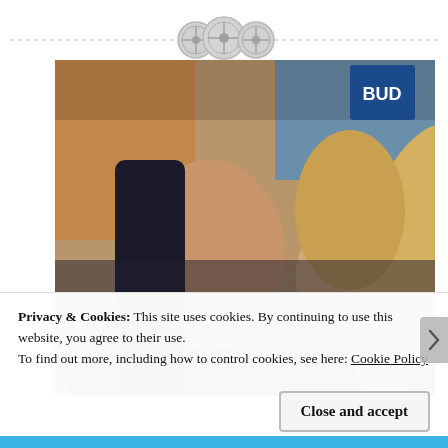[Figure (other): Decorative top border with dashed line and three circular button/gear icons in gray]
[Figure (photo): Two young women posing together, one with long dark hair looking forward, one with long blonde hair leaning her head sideways, taken indoors]
Privacy & Cookies: This site uses cookies. By continuing to use this website, you agree to their use.
To find out more, including how to control cookies, see here: Cookie Policy
Close and accept